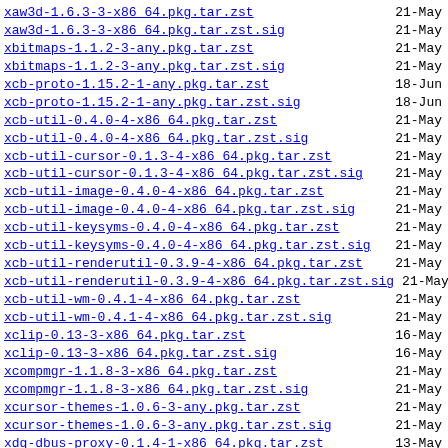xaw3d-1.6.3-3-x86_64.pkg.tar.zst  21-May
xaw3d-1.6.3-3-x86_64.pkg.tar.zst.sig  21-May
xbitmaps-1.1.2-3-any.pkg.tar.zst  21-May
xbitmaps-1.1.2-3-any.pkg.tar.zst.sig  21-May
xcb-proto-1.15.2-1-any.pkg.tar.zst  18-Jun
xcb-proto-1.15.2-1-any.pkg.tar.zst.sig  18-Jun
xcb-util-0.4.0-4-x86_64.pkg.tar.zst  21-May
xcb-util-0.4.0-4-x86_64.pkg.tar.zst.sig  21-May
xcb-util-cursor-0.1.3-4-x86_64.pkg.tar.zst  21-May
xcb-util-cursor-0.1.3-4-x86_64.pkg.tar.zst.sig  21-May
xcb-util-image-0.4.0-4-x86_64.pkg.tar.zst  21-May
xcb-util-image-0.4.0-4-x86_64.pkg.tar.zst.sig  21-May
xcb-util-keysyms-0.4.0-4-x86_64.pkg.tar.zst  21-May
xcb-util-keysyms-0.4.0-4-x86_64.pkg.tar.zst.sig  21-May
xcb-util-renderutil-0.3.9-4-x86_64.pkg.tar.zst  21-May
xcb-util-renderutil-0.3.9-4-x86_64.pkg.tar.zst.sig  21-May
xcb-util-wm-0.4.1-4-x86_64.pkg.tar.zst  21-May
xcb-util-wm-0.4.1-4-x86_64.pkg.tar.zst.sig  21-May
xclip-0.13-3-x86_64.pkg.tar.zst  16-May
xclip-0.13-3-x86_64.pkg.tar.zst.sig  16-May
xcompmgr-1.1.8-3-x86_64.pkg.tar.zst  21-May
xcompmgr-1.1.8-3-x86_64.pkg.tar.zst.sig  21-May
xcursor-themes-1.0.6-3-any.pkg.tar.zst  21-May
xcursor-themes-1.0.6-3-any.pkg.tar.zst.sig  21-May
xdg-dbus-proxy-0.1.4-1-x86_64.pkg.tar.zst  13-May
xdg-dbus-proxy-0.1.4-1-x86_64.pkg.tar.zst.sig  13-May
xdg-desktop-portal-1.15.0-1-x86_64.pkg.tar.zst  12-Aug
xdg-desktop-portal-1.15.0-1-x86_64.pkg.tar.zst.sig  12-Aug
xdg-desktop-portal-gnome-42.3-1-x86_64.pkg.tar.zst  03-Jul
xdg-desktop-portal-gnome-42.3-1-x86_64.pkg.tar...>  03-Jul